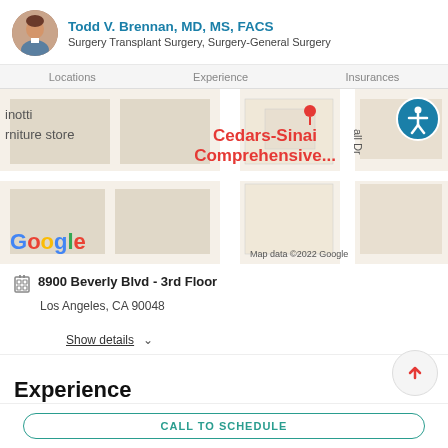Todd V. Brennan, MD, MS, FACS — Surgery Transplant Surgery, Surgery-General Surgery
Locations   Experience   Insurances
[Figure (map): Google map screenshot showing Cedars-Sinai Comprehensive location near Beverly Blvd, Los Angeles. Shows partial street map with 'inotti rniture store' on left, 'Cedars-Sinai Comprehensive...' in red center, 'all Dr' on right. Google logo bottom-left, 'Map data ©2022 Google' bottom-right.]
8900 Beverly Blvd - 3rd Floor
Los Angeles, CA 90048
Show details
Experience
CALL TO SCHEDULE